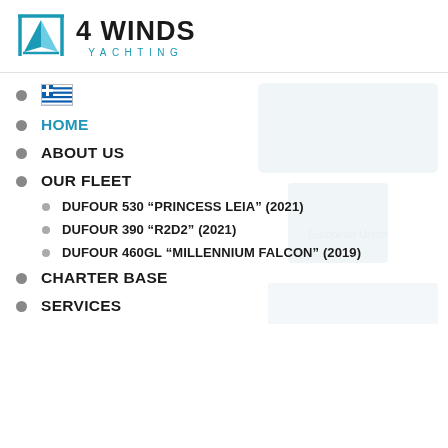[Figure (logo): 4 Winds Yachting logo with sailboat icon and teal/dark text]
🇬🇷 (Greek flag icon)
HOME
ABOUT US
OUR FLEET
DUFOUR 530 “PRINCESS LEIA” (2021)
DUFOUR 390 “R2D2” (2021)
DUFOUR 460GL “MILLENNIUM FALCON” (2019)
CHARTER BASE
SERVICES